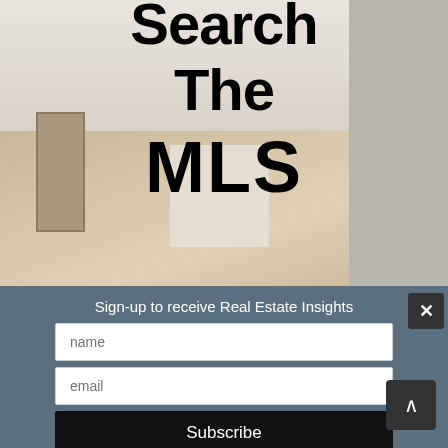[Figure (photo): Kitchen interior photo background with text overlay reading 'Search The MLS' in large bold black letters]
Sign-up to receive Real Estate Insights
name
email
Subscribe